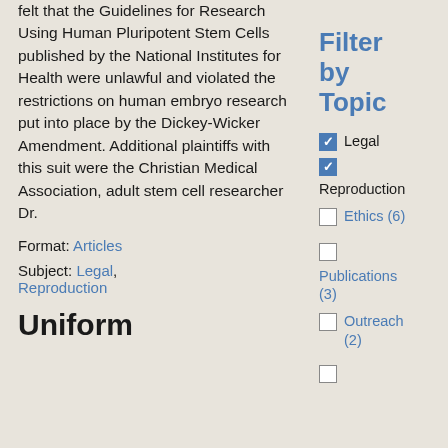felt that the Guidelines for Research Using Human Pluripotent Stem Cells published by the National Institutes for Health were unlawful and violated the restrictions on human embryo research put into place by the Dickey-Wicker Amendment. Additional plaintiffs with this suit were the Christian Medical Association, adult stem cell researcher Dr.
Format: Articles
Subject: Legal, Reproduction
Uniform
Filter by Topic
Legal (checked)
Reproduction (checked)
Ethics (6) (unchecked)
Publications (3) (unchecked)
Outreach (2) (unchecked)